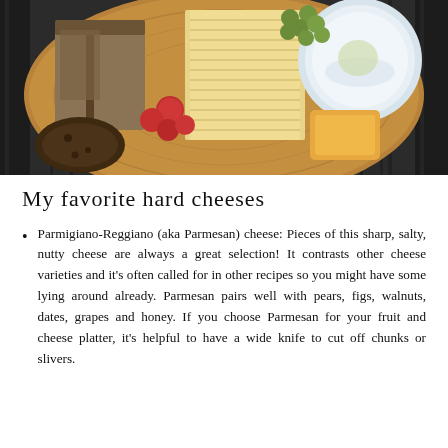[Figure (photo): A circular wooden cheese board viewed from above on a dark slatted surface, featuring various hard cheeses, crackers, grapes, cherry tomatoes, bread, and a small white bowl.]
My favorite hard cheeses
Parmigiano-Reggiano (aka Parmesan) cheese: Pieces of this sharp, salty, nutty cheese are always a great selection! It contrasts other cheese varieties and it's often called for in other recipes so you might have some lying around already. Parmesan pairs well with pears, figs, walnuts, dates, grapes and honey. If you choose Parmesan for your fruit and cheese platter, it's helpful to have a wide knife to cut off chunks or slivers.